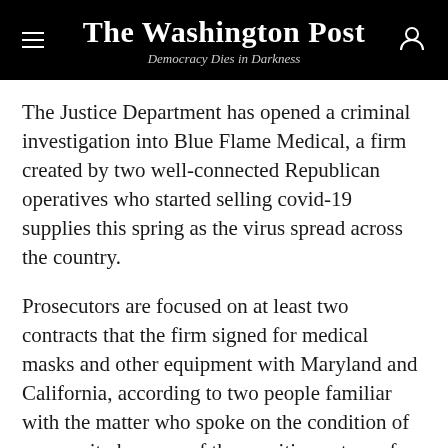The Washington Post — Democracy Dies in Darkness
The Justice Department has opened a criminal investigation into Blue Flame Medical, a firm created by two well-connected Republican operatives who started selling covid-19 supplies this spring as the virus spread across the country.
Prosecutors are focused on at least two contracts that the firm signed for medical masks and other equipment with Maryland and California, according to two people familiar with the matter who spoke on the condition of anonymity because of the sensitive nature of the matter. Both states ultimately canceled those contracts.
This is an excerpt from a full story.